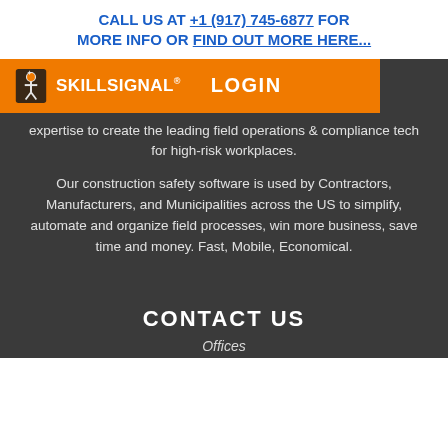CALL US AT +1 (917) 745-6877 FOR MORE INFO OR FIND OUT MORE HERE...
[Figure (logo): SkillSignal logo with person icon on orange background, with LOGIN button]
expertise to create the leading field operations & compliance tech for high-risk workplaces.
Our construction safety software is used by Contractors, Manufacturers, and Municipalities across the US to simplify, automate and organize field processes, win more business, save time and money. Fast, Mobile, Economical.
CONTACT US
Offices